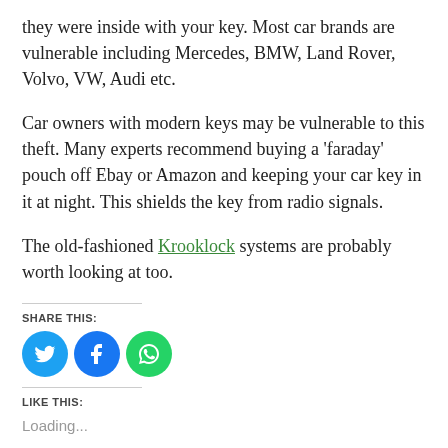they were inside with your key.  Most car brands are vulnerable including Mercedes, BMW, Land Rover, Volvo, VW, Audi etc.
Car owners with modern keys may be vulnerable to this theft. Many experts recommend buying  a 'faraday' pouch off Ebay or Amazon and keeping your car key in it at night. This shields the key from radio signals.
The old-fashioned Krooklock systems are probably worth looking at too.
SHARE THIS:
[Figure (infographic): Three social media share buttons: Twitter (blue circle with bird icon), Facebook (blue circle with f icon), WhatsApp (green circle with phone icon)]
LIKE THIS:
Loading...